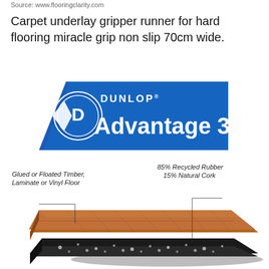Source: www.flooringclarity.com
Carpet underlay gripper runner for hard flooring miracle grip non slip 70cm wide.
[Figure (logo): Dunlop Advantage 3 logo - blue parallelogram shape with Dunlop D logo on left and 'DUNLOP Advantage 3' text in white on blue background]
[Figure (illustration): Cross-section diagram of Dunlop Advantage 3 underlay showing two layers: top layer labeled 'Glued or Floated Timber, Laminate or Vinyl Floor' (wood plank appearance) and bottom layer labeled '85% Recycled Rubber 15% Natural Cork' (black granular texture)]